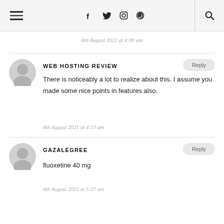Navigation header with hamburger menu, social icons (f, twitter, instagram, pinterest), and search
8th August 2021 at 4:06 am
WEB HOSTING REVIEW
There is noticeably a lot to realize about this. I assume you made some nice points in features also.
8th August 2021 at 4:17 am
GAZALEGREE
fluoxetine 40 mg
8th August 2021 at 5:37 am